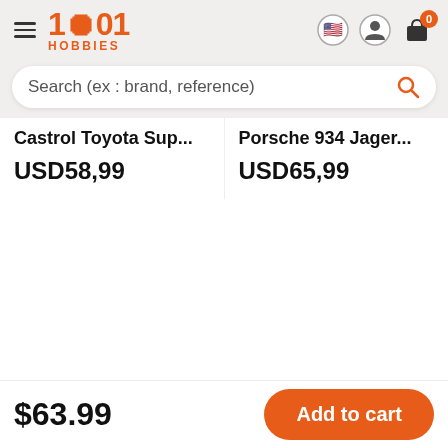1001 HOBBIES
Search (ex : brand, reference)
Castrol Toyota Sup...
USD58,99
Porsche 934 Jager...
USD65,99
You might also like
$63.99
Add to cart